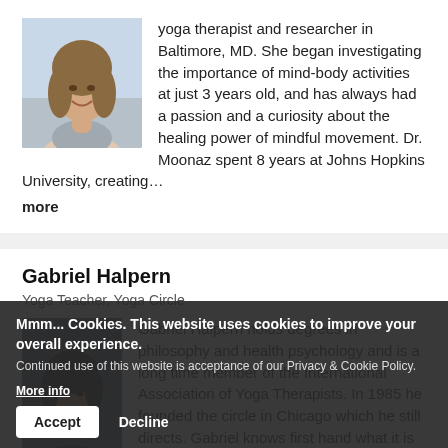[Figure (photo): Headshot of a woman with long brown hair, smiling, outdoors background]
yoga therapist and researcher in Baltimore, MD. She began investigating the importance of mind-body activities at just 3 years old, and has always had a passion and a curiosity about the healing power of mindful movement. Dr. Moonaz spent 8 years at Johns Hopkins University, creating… more
Gabriel Halpern
Yoga Teacher, Yoga Circle
[Figure (photo): Headshot of a man, partially visible, dark background]
Gabriel Halpern holds degrees in philosophy and health psychology and is a long time member of the International Association of Yoga Therapists. In 1985 he founded the circle in Chicago which he still directs. Gabriel knows first hand what it is to live with pain and
Mmm... Cookies. This website uses cookies to improve your overall experience. Continued use of this website is acceptance of our Privacy & Cookie Policy. More info